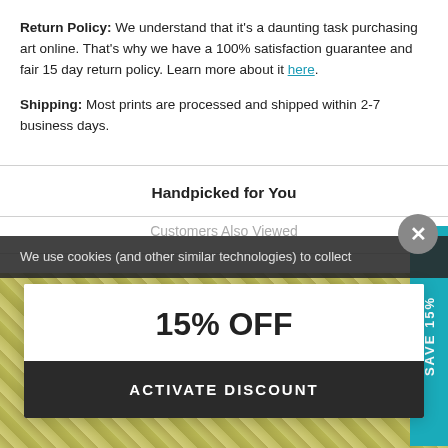Return Policy: We understand that it's a daunting task purchasing art online. That's why we have a 100% satisfaction guarantee and fair 15 day return policy. Learn more about it here.
Shipping: Most prints are processed and shipped within 2-7 business days.
Handpicked for You
Customers Also Viewed
We use cookies (and other similar technologies) to collect
15% OFF
ACTIVATE DISCOUNT